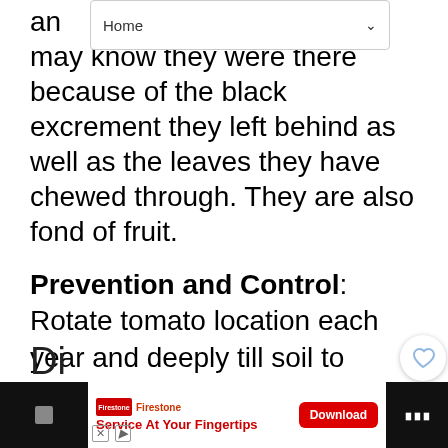and may know they were there because of the black excrement they left behind as well as the leaves they have chewed through. They are also fond of fruit.
Prevention and Control: Rotate tomato location each year and deeply till soil to expose pupae. Floating row covers in June & July help to prevent active moths from laying eggs. Handpick and destroy caterpillars when found. Consult your local garden center professional or county Cooperative Extension office for legal pesticide/chemical recommendations.
[Figure (screenshot): Advertisement bar at bottom: Firestone 'Service At Your Fingertips' app with Download button]